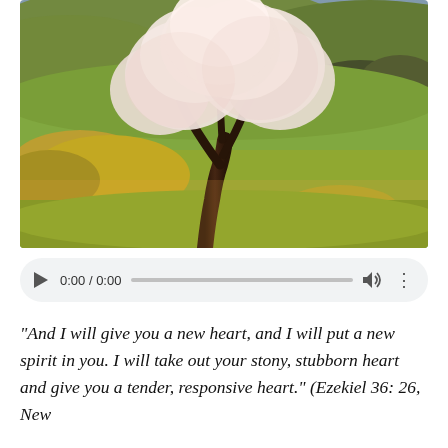[Figure (photo): A blooming cherry or almond tree with white blossoms standing alone on a hillside with green rolling fields and woodland in the background, photographed in warm evening light.]
[Figure (screenshot): An audio player widget showing play button, time display '0:00 / 0:00', a progress bar, a volume icon, and a more-options (three dots) icon on a light gray rounded rectangle background.]
“And I will give you a new heart, and I will put a new spirit in you. I will take out your stony, stubborn heart and give you a tender, responsive heart.” (Ezekiel 36: 26, New